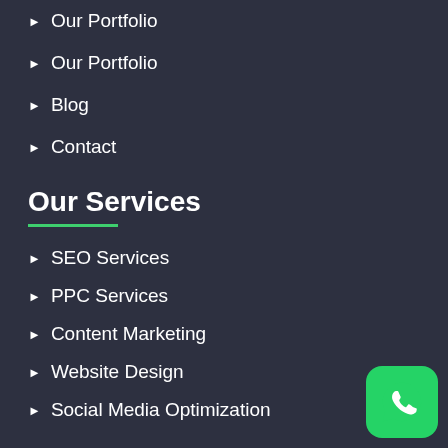Our Portfolio
Our Portfolio
Blog
Contact
Our Services
SEO Services
PPC Services
Content Marketing
Website Design
Social Media Optimization